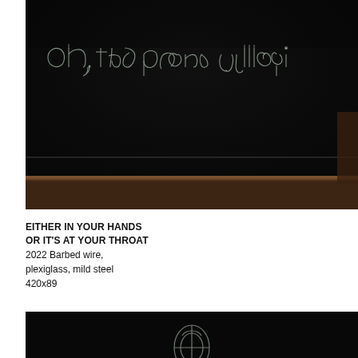[Figure (photo): Dark room installation photo showing barbed wire text spelling 'oh, the places you'll go!' mounted on a dark wall above a wooden ledge/baseboard. The text is formed from wire and appears against a nearly black background.]
EITHER IN YOUR HANDS OR IT'S AT YOUR THROAT 2022 Barbed wire, plexiglass, mild steel 420x89
[Figure (photo): Bottom portion of another dark installation photo showing what appears to be a wire or barbed wire artwork against a black background.]